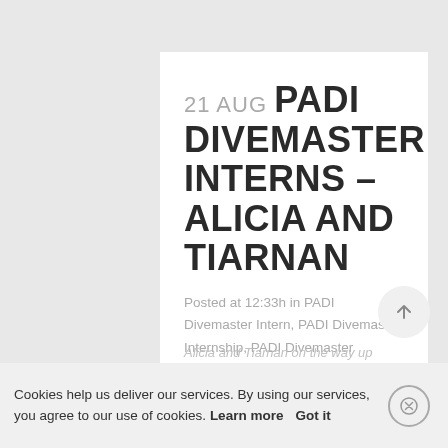21 AUG PADI DIVEMASTER INTERNS – ALICIA AND TIARNAN
Posted at 12:33h in PADI Divemaster Intern, PADI Divemaster Internship, PADI Divemaster updates, PADI Professional, Tenerife Diving Academy by Jess · 0 Comments · 0 Likes · Share
Alicia and Tiarnan on the way up
Cookies help us deliver our services. By using our services, you agree to our use of cookies. Learn more Got it